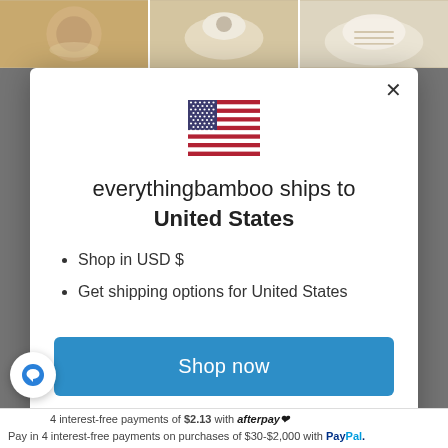[Figure (screenshot): Background product images (bamboo/ceramic items) visible at top of page behind modal overlay]
[Figure (illustration): US flag SVG illustration centered in modal]
everythingbamboo ships to United States
Shop in USD $
Get shipping options for United States
Shop now
Change shipping country
4 interest-free payments of $2.13 with afterpay. Pay in 4 interest-free payments on purchases of $30-$2,000 with PayPal.